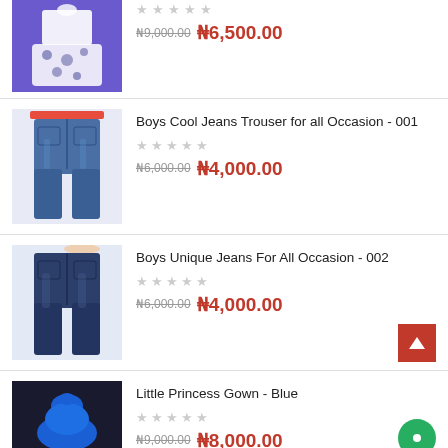[Figure (photo): Partial product listing: white floral top/outfit on purple background]
₦9,000.00 ₦6,500.00
[Figure (photo): Boys Cool Jeans Trouser for all Occasion - 001, blue denim jeans with red tag]
Boys Cool Jeans Trouser for all Occasion - 001
₦6,000.00 ₦4,000.00
[Figure (photo): Boys Unique Jeans For All Occasion - 002, dark blue denim jeans]
Boys Unique Jeans For All Occasion - 002
₦6,000.00 ₦4,000.00
[Figure (photo): Little Princess Gown - Blue, blue gown on mannequin, dark background]
Little Princess Gown - Blue
₦9,000.00 ₦8,000.00